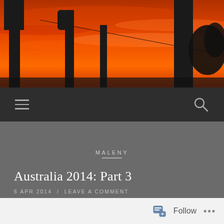[Figure (photo): Desert sunset with saguaro cactus silhouettes against a vivid orange and red sky, with a power line crossing diagonally.]
☰  🔍
MALENY
Australia 2014: Part 3
6 APR 2014  /  LEAVE A COMMENT
<Ferny Grove, Australia | 06:04>
Follow  •••